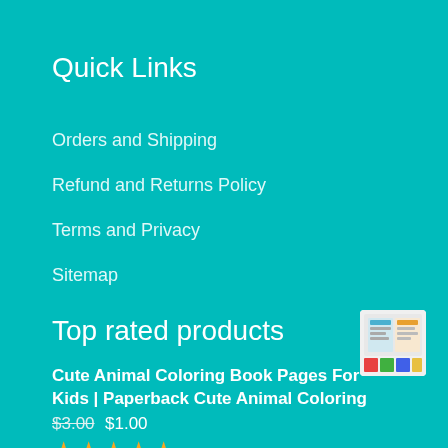Quick Links
Orders and Shipping
Refund and Returns Policy
Terms and Privacy
Sitemap
Top rated products
Cute Animal Coloring Book Pages For Kids | Paperback Cute Animal Coloring
[Figure (illustration): Small thumbnail of the Cute Animal Coloring Book Pages product cover]
★★★★★
$3.00 $1.00